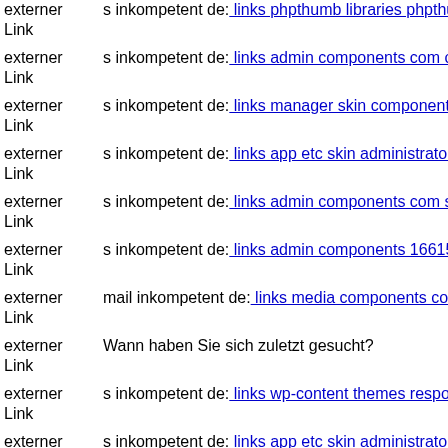externer Link s inkompetent de: links phpthumb libraries phpthumb comp...
externer Link s inkompetent de: links admin components com civicrm civ...
externer Link s inkompetent de: links manager skin components com crea...
externer Link s inkompetent de: links app etc skin administrator wp-conte...
externer Link s inkompetent de: links admin components com sexycontac...
externer Link s inkompetent de: links admin components 1661563260
externer Link mail inkompetent de: links media components com b2jconta...
externer Link Wann haben Sie sich zuletzt gesucht?
externer Link s inkompetent de: links wp-content themes responz dnik ne...
externer Link s inkompetent de: links app etc skin administrator wp-conte...
externer Link s inkompetent de: links wp-content plugins formcraft file-u...
externer Link s inkompetent de: links manager skin wp-content plugins...